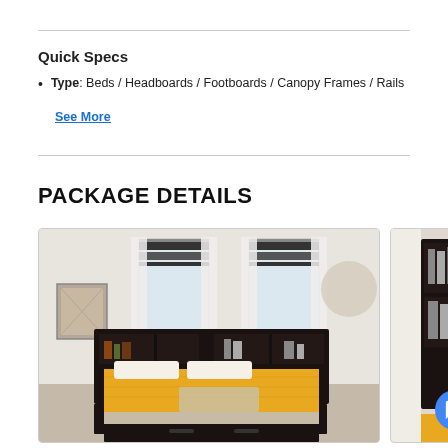Quick Specs
Type: Beds / Headboards / Footboards / Canopy Frames / Rails
See More
PACKAGE DETAILS
[Figure (photo): Bedroom scene showing a dark wood bed with bookcase headboard, yellow/gold bedding, and storage drawers at the base. Set against a bright windowed room.]
[Figure (photo): Partial view of a dark wood bookcase headboard with shelving, partially cropped on the right side of the page.]